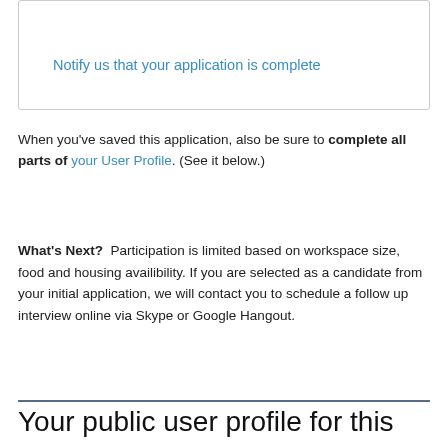Notify us that your application is complete
When you've saved this application, also be sure to complete all parts of your User Profile. (See it below.)
What's Next?  Participation is limited based on workspace size, food and housing availibility. If you are selected as a candidate from your initial application, we will contact you to schedule a follow up interview online via Skype or Google Hangout.
Your public user profile for this